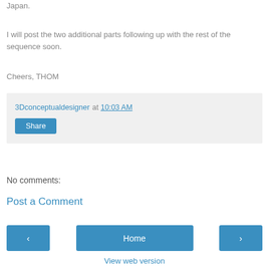Japan.
I will post the two additional parts following up with the rest of the sequence soon.
Cheers, THOM
3Dconceptualdesigner at 10:03 AM
Share
No comments:
Post a Comment
Home
View web version